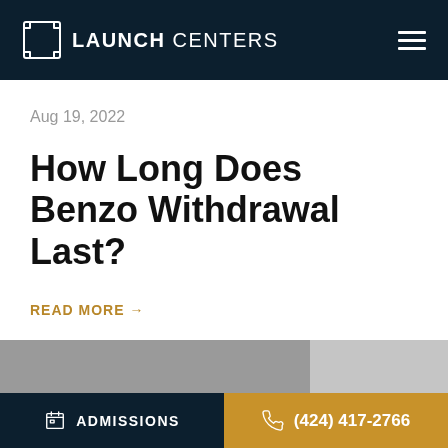LAUNCH CENTERS
Aug 19, 2022
How Long Does Benzo Withdrawal Last?
READ MORE →
[Figure (photo): Partial image strip showing grey/light grey background, likely a clinical or nature photo]
ADMISSIONS | (424) 417-2766